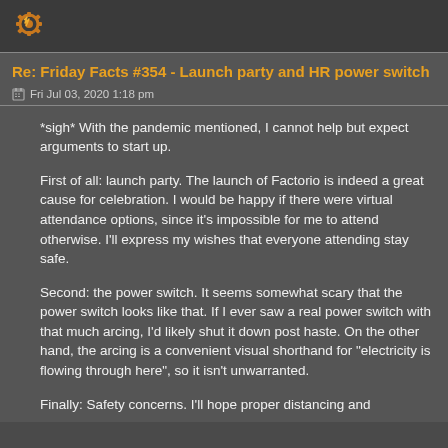[Figure (logo): Factorio-style logo/icon with orange and yellow flame/gear imagery on dark background]
Re: Friday Facts #354 - Launch party and HR power switch
Fri Jul 03, 2020 1:18 pm
*sigh* With the pandemic mentioned, I cannot help but expect arguments to start up.
First of all: launch party. The launch of Factorio is indeed a great cause for celebration. I would be happy if there were virtual attendance options, since it's impossible for me to attend otherwise. I'll express my wishes that everyone attending stay safe.
Second: the power switch. It seems somewhat scary that the power switch looks like that. If I ever saw a real power switch with that much arcing, I'd likely shut it down post haste. On the other hand, the arcing is a convenient visual shorthand for "electricity is flowing through here", so it isn't unwarranted.
Finally: Safety concerns. I'll hope proper distancing and